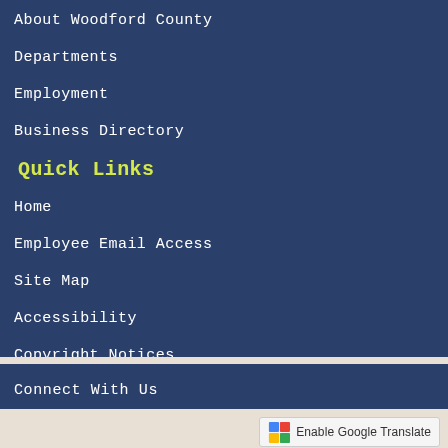About Woodford County
Departments
Employment
Business Directory
Quick Links
Home
Employee Email Access
Site Map
Accessibility
Copyright Notices
Connect With Us
Enable Google Translate